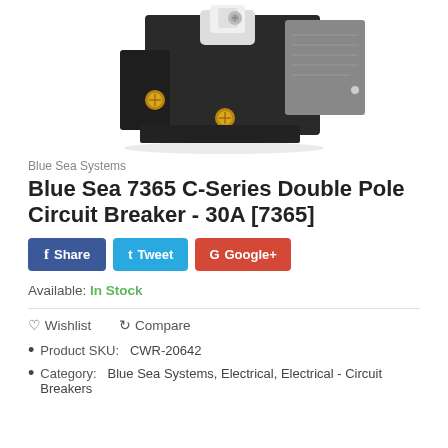[Figure (photo): Blue Sea 7365 C-Series Double Pole Circuit Breaker product photo showing a black circuit breaker with gold terminal screws and a toggle switch]
Blue Sea Systems
Blue Sea 7365 C-Series Double Pole Circuit Breaker - 30A [7365]
Share Tweet Google+
Available: In Stock
Wishlist   Compare
Product SKU:   CWR-20642
Category:   Blue Sea Systems, Electrical, Electrical - Circuit Breakers